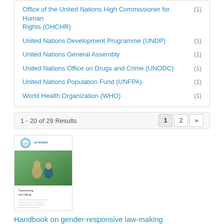Office of the United Nations High Commissioner for Human Rights (OHCHR) (1)
United Nations Development Programme (UNDP) (1)
United Nations General Assembly (1)
United Nations Office on Drugs and Crime (UNODC) (1)
United Nations Population Fund (UNFPA) (1)
World Health Organization (WHO) (1)
1 - 20 of 29 Results
[Figure (screenshot): Thumbnail of handbook cover showing logos and photo of people]
Handbook on gender-responsive law-making
Date: Wednesday, 24 November 2021
UN Women partnered with the Inter-Parliamentary Union to prepare a handbook on gender-responsive law-making. This handbook